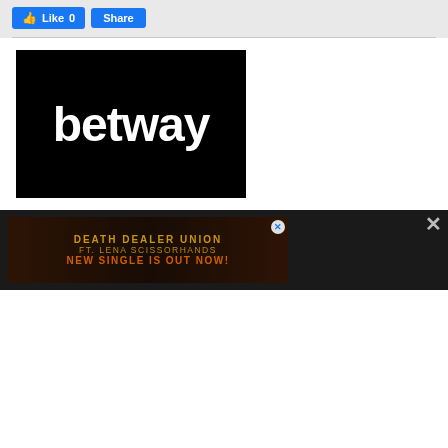[Figure (screenshot): Facebook-style Like and Share buttons on a gray background bar with a horizontal divider line below]
[Figure (logo): Betway logo: white bold lowercase 'betway' text on solid black background]
[Figure (screenshot): Advertisement banner with dark background. Text: DEATH DEALER UNION / FT. LENA SCISSORHANDS / NEW SINGLE IS OUT NOW! in orange/gold text. Has a close X button.]